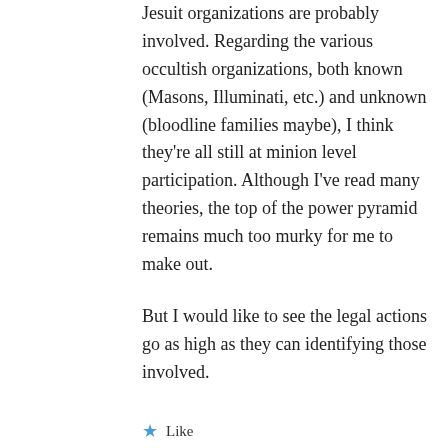Jesuit organizations are probably involved. Regarding the various occultish organizations, both known (Masons, Illuminati, etc.) and unknown (bloodline families maybe), I think they're all still at minion level participation. Although I've read many theories, the top of the power pyramid remains much too murky for me to make out.
But I would like to see the legal actions go as high as they can identifying those involved.
Like
Julia Pomeroy
March 7, 2021 at 4:17 pm
So you do not know at this time how far up the foodchain dear Bill is, do you? But, I trust, you